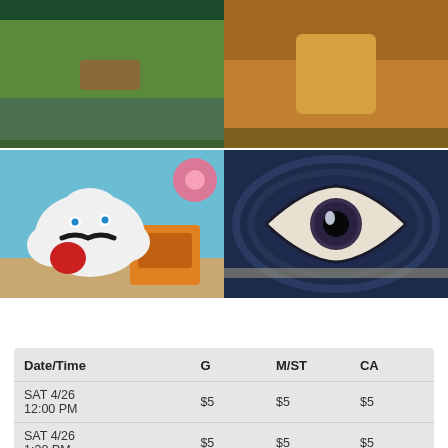[Figure (photo): Top row of two images: left is a nature/landscape scene, right is a warm-toned artistic photo]
[Figure (photo): Bottom left: a plush cloud character with mustache and blue eyes using a sewing machine on orange background with red heart]
[Figure (photo): Bottom right: close-up painting of a large eye in dark blue tones]
[Figure (other): Tweet button with Twitter bird icon]
| Date/Time | G | M/ST | CA |
| --- | --- | --- | --- |
| SAT 4/26
12:00 PM | $5 | $5 | $5 |
| SAT 4/26
1:30 PM | $5 | $5 | $5 |
| SAT 4/26
3:00 PM | $5 | $5 | $5 |
G - General Audience
M - REDCAT Members
ST - Students